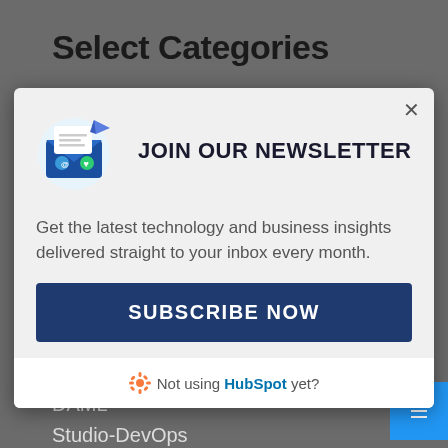Select Categories
[Figure (screenshot): Newsletter signup modal popup with envelope/paper plane icon, JOIN OUR NEWSLETTER heading, descriptive text, SUBSCRIBE NOW button, and HubSpot footer link]
Blockchain
DAML
Studio-DevOps
Functional Programming